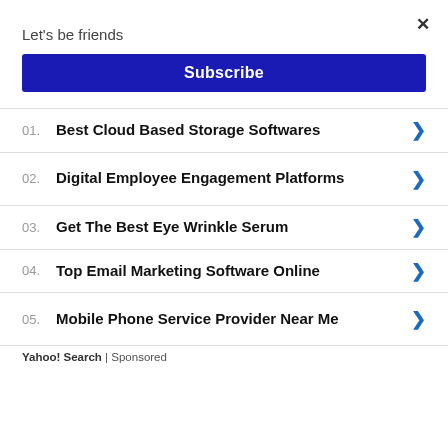Let's be friends
Subscribe
01. Best Cloud Based Storage Softwares
02. Digital Employee Engagement Platforms
03. Get The Best Eye Wrinkle Serum
04. Top Email Marketing Software Online
05. Mobile Phone Service Provider Near Me
Yahoo! Search | Sponsored